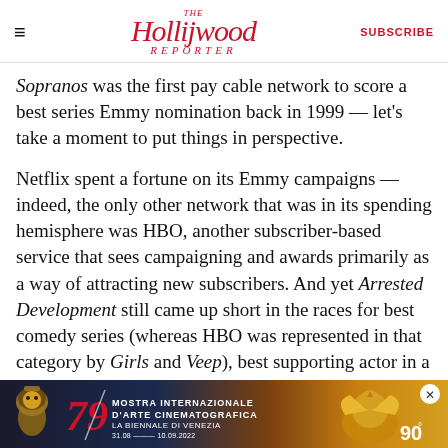The Hollywood Reporter | SUBSCRIBE
Sopranos was the first pay cable network to score a best series Emmy nomination back in 1999 — let's take a moment to put things in perspective.
Netflix spent a fortune on its Emmy campaigns — indeed, the only other network that was in its spending hemisphere was HBO, another subscriber-based service that sees campaigning and awards primarily as a way of attracting new subscribers. And yet Arrested Development still came up short in the races for best comedy series (whereas HBO was represented in that category by Girls and Veep), best supporting actor in a comedy series (Will Arnett
[Figure (other): Advertisement banner for Mostra Internazionale d'Arte Cinematografica — La Biennale di Venezia, 79th edition, 31.08 - 10.09.2022, 90°]